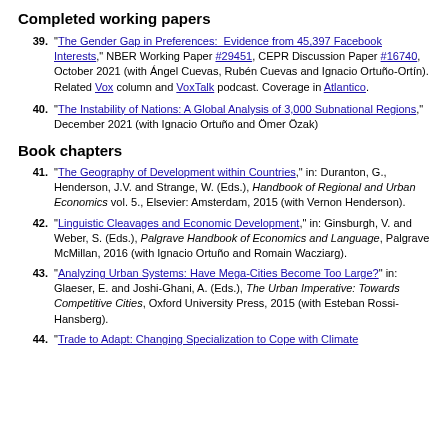Completed working papers
39. “The Gender Gap in Preferences: Evidence from 45,397 Facebook Interests,” NBER Working Paper #29451, CEPR Discussion Paper #16740, October 2021 (with Ángel Cuevas, Rubén Cuevas and Ignacio Ortuño-Ortín). Related Vox column and VoxTalk podcast. Coverage in Atlantico.
40. “The Instability of Nations: A Global Analysis of 3,000 Subnational Regions,” December 2021 (with Ignacio Ortuño and Ömer Özak)
Book chapters
41. “The Geography of Development within Countries,” in: Duranton, G., Henderson, J.V. and Strange, W. (Eds.), Handbook of Regional and Urban Economics vol. 5., Elsevier: Amsterdam, 2015 (with Vernon Henderson).
42. “Linguistic Cleavages and Economic Development,” in: Ginsburgh, V. and Weber, S. (Eds.), Palgrave Handbook of Economics and Language, Palgrave McMillan, 2016 (with Ignacio Ortuño and Romain Wacziarg).
43. “Analyzing Urban Systems: Have Mega-Cities Become Too Large?,” in: Glaeser, E. and Joshi-Ghani, A. (Eds.), The Urban Imperative: Towards Competitive Cities, Oxford University Press, 2015 (with Esteban Rossi-Hansberg).
44. “Trade to Adapt: Changing Specialization to Cope with Climate…”